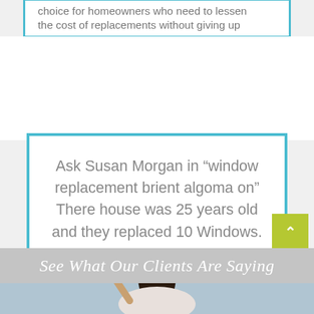choice for homeowners who need to lessen the cost of replacements without giving up
Ask Susan Morgan in “window replacement brient algoma on” There house was 25 years old and they replaced 10 Windows.
See What Our Clients Are Saying
[Figure (photo): Woman with dark hair pointing upward, against a light blue background]